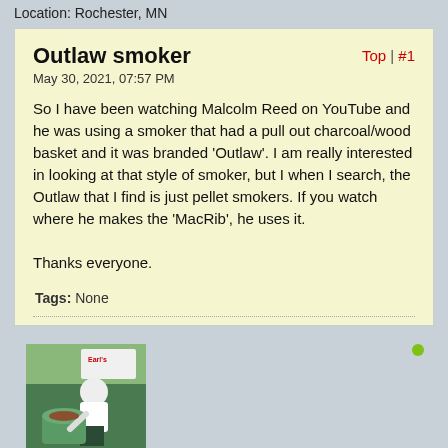Location: Rochester, MN
Outlaw smoker
May 30, 2021, 07:57 PM
So I have been watching Malcolm Reed on YouTube and he was using a smoker that had a pull out charcoal/wood basket and it was branded 'Outlaw'. I am really interested in looking at that style of smoker, but I when I search, the Outlaw that I find is just pellet smokers. If you watch where he makes the 'MacRib', he uses it.

Thanks everyone.
Tags: None
[Figure (photo): User avatar photo showing a person outdoors at what appears to be a cooking event, working with a large smoker or grill.]
wrgilb
Club Member